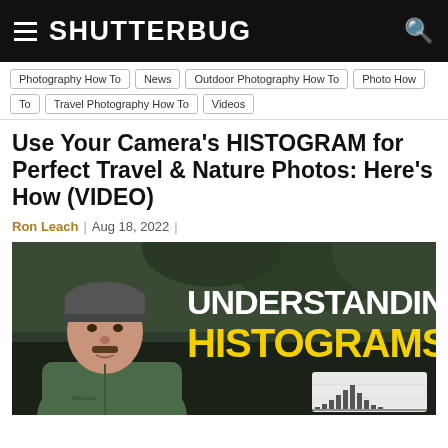SHUTTERBUG
Photography How To
News
Outdoor Photography How To
Photo How To
Travel Photography How To
Videos
Use Your Camera's HISTOGRAM for Perfect Travel & Nature Photos: Here's How (VIDEO)
Ron Leach | Aug 18, 2022 |
[Figure (photo): Video thumbnail showing a man in a green jacket and grey beanie hat outdoors, with text overlay reading UNDERSTANDING HISTOGRAMS in white and yellow, and a small histogram chart visible at the bottom right.]